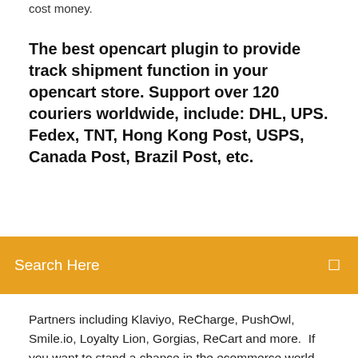cost money.
The best opencart plugin to provide track shipment function in your opencart store. Support over 120 couriers worldwide, include: DHL, UPS. Fedex, TNT, Hong Kong Post, USPS, Canada Post, Brazil Post, etc.
Partners including Klaviyo, ReCharge, PushOwl, Smile.io, Loyalty Lion, Gorgias, ReCart and more. If you want to stand a chance in the ecommerce world you’re going to need to some help. No one grows manually. Tools and technology have become an integral part in shaping the success of many (if not all) of today’s ecommerce brands. Improvement Add config to activate/deactivate integration with core app in chatbot “properties” tab Ecwid provides freelancers and small businesses a quick way of setting up an online store and